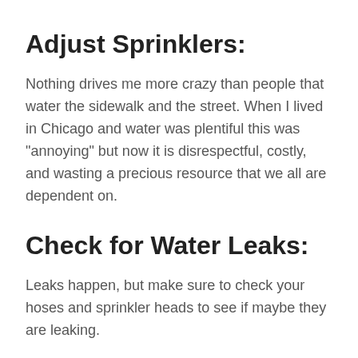Adjust Sprinklers:
Nothing drives me more crazy than people that water the sidewalk and the street. When I lived in Chicago and water was plentiful this was "annoying" but now it is disrespectful, costly, and wasting a precious resource that we all are dependent on.
Check for Water Leaks:
Leaks happen, but make sure to check your hoses and sprinkler heads to see if maybe they are leaking.
Avoid Watering on Windy D…